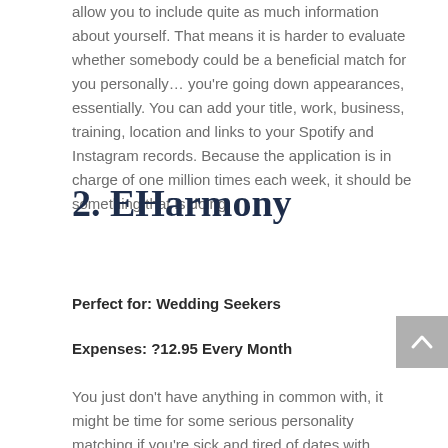allow you to include quite as much information about yourself. That means it is harder to evaluate whether somebody could be a beneficial match for you personally… you're going down appearances, essentially. You can add your title, work, business, training, location and links to your Spotify and Instagram records. Because the application is in charge of one million times each week, it should be something that is doing.
2. EHarmony
Perfect for: Wedding Seekers
Expenses: ?12.95 Every Month
You just don't have anything in common with, it might be time for some serious personality matching if you're sick and tired of dates with people. That's where eHarmony is available in. They've been with us for over a decade and have now a patented eHarmony Compatibility Matching System which took 35 years to generate. The ability to match users with people they're actually compatible with it's a very in-depth relationship questionnaire which gives the team. Yep – this love is taken by them material pretty seriously.